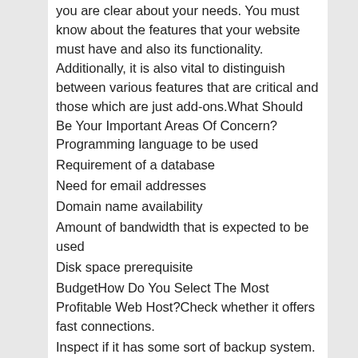you are clear about your needs. You must know about the features that your website must have and also its functionality. Additionally, it is also vital to distinguish between various features that are critical and those which are just add-ons.What Should Be Your Important Areas Of Concern?Programming language to be used
Requirement of a database
Need for email addresses
Domain name availability
Amount of bandwidth that is expected to be used
Disk space prerequisite
BudgetHow Do You Select The Most Profitable Web Host?Check whether it offers fast connections.
Inspect if it has some sort of backup system.
Is there any need of making an advance payment?
Establish the reliability of the customer support system and the expertise of the staff.
It must provide you with an online website administrator or an account control panel.
Availability of online support and easy to understand tutorials.What Are The Essential Features You Must Have In A Web Host?Unique domain name